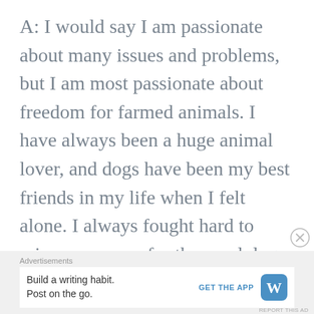A: I would say I am passionate about many issues and problems, but I am most passionate about freedom for farmed animals. I have always been a huge animal lover, and dogs have been my best friends in my life when I felt alone. I always fought hard to raise awareness for the cruel dog meat trade in Asia and never realized I was being hypocritical when it came to my diet. I became vegan once I educated myself about how these animals are abused and
Advertisements
Build a writing habit. Post on the go.
GET THE APP